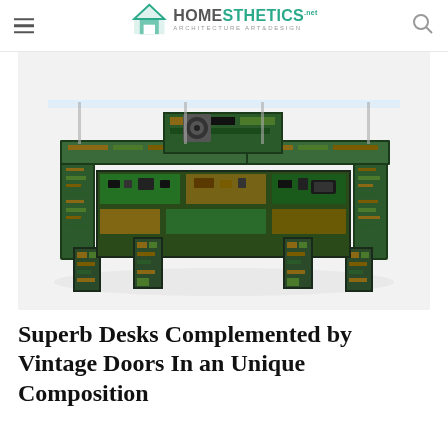Homesthetics — Architecture Art & Design
[Figure (photo): A coffee table constructed from stacked and assembled computer circuit boards, motherboards, and electronic components forming the legs and surface frame, topped with a glass tabletop, photographed on a white background.]
Superb Desks Complemented by Vintage Doors In an Unique Composition